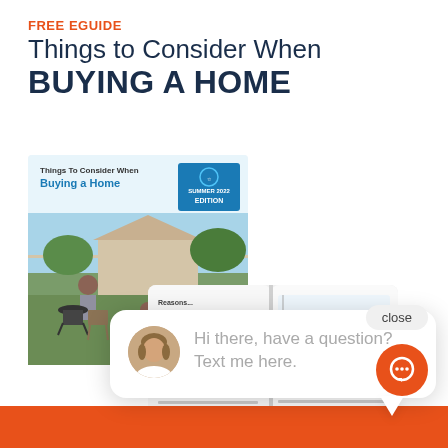FREE EGUIDE
Things to Consider When BUYING A HOME
[Figure (illustration): Book/eguide mockup showing cover with 'Things To Consider When Buying a Home' and interior pages with charts and text, featuring a barbecue outdoor scene on the cover.]
close
Hi there, have a question? Text me here.
[Figure (other): Orange circular chat bubble icon button in bottom right corner]